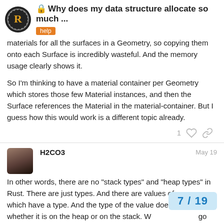Why does my data structure allocate so much ... | help
materials for all the surfaces in a Geometry, so copying them onto each Surface is incredibly wasteful. And the memory usage clearly shows it.

So I'm thinking to have a material container per Geometry which stores those few Material instances, and then the Surface references the Material in the material-container. But I guess how this would work is a different topic already.
H2CO3   May 19
In other words, there are no "stack types" and "heap types" in Rust. There are just types. And there are values of course, which have a type. And the type of the value doesn't influence whether it is on the heap or on the stack. Whether values go on the stack or the heap depends on yo
7 / 19